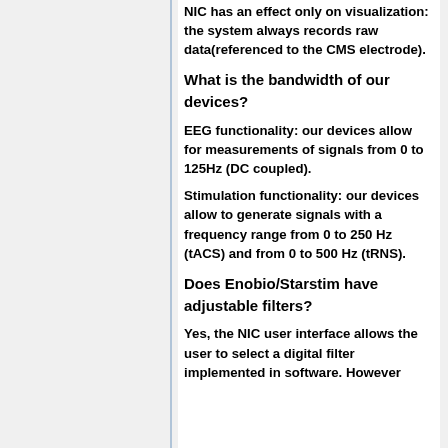NIC has an effect only on visualization: the system always records raw data(referenced to the CMS electrode).
What is the bandwidth of our devices?
EEG functionality: our devices allow for measurements of signals from 0 to 125Hz (DC coupled).
Stimulation functionality: our devices allow to generate signals with a frequency range from 0 to 250 Hz (tACS) and from 0 to 500 Hz (tRNS).
Does Enobio/Starstim have adjustable filters?
Yes, the NIC user interface allows the user to select a digital filter implemented in software. However